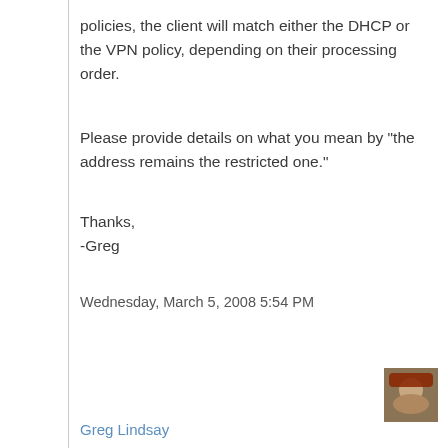policies, the client will match either the DHCP or the VPN policy, depending on their processing order.
Please provide details on what you mean by "the address remains the restricted one."
Thanks,
-Greg
Wednesday, March 5, 2008 5:54 PM
[Figure (photo): Small avatar photo of a person wearing a hat]
Greg Lindsay